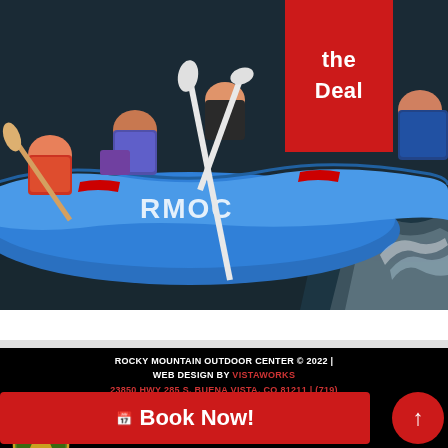[Figure (photo): People rafting on a blue inflatable raft labeled RMOC on dark water, with paddles, wearing life vests, sunny day]
the Deal
ROCKY MOUNTAIN OUTDOOR CENTER © 2022 | WEB DESIGN BY VISTAWORKS
23850 HWY 285 S, BUENA VISTA, CO 81211 | (719) 395-3335 | SITEMAP HTML, XML
RMOC IS AN EQUAL OPPORTUNITY SERVICE PROVIDER. RMOC OPERATES UNDER SPECIAL USE PERMITS FROM THE SAN ISABEL NATIONAL FOREST
MANAGEMENT.
📅 Book Now!